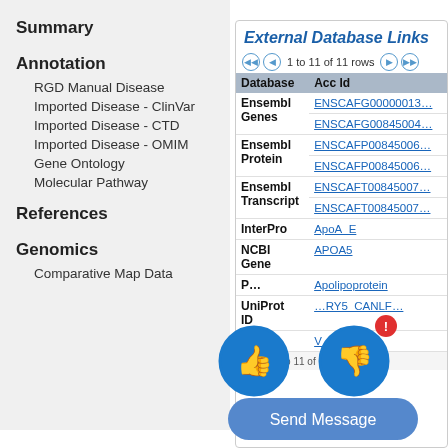Summary
Annotation
RGD Manual Disease
Imported Disease - ClinVar
Imported Disease - CTD
Imported Disease - OMIM
Gene Ontology
Molecular Pathway
References
Genomics
Comparative Map Data
External Database Links
1 to 11 of 11 rows
| Database | Acc Id |
| --- | --- |
| Ensembl Genes | ENSCAFG00000013... |
|  | ENSCAFG00845004... |
| Ensembl Protein | ENSCAFP00845006... |
|  | ENSCAFP00845006... |
| Ensembl Transcript | ENSCAFT00845007... |
|  | ENSCAFT00845007... |
| InterPro | ApoA_E |
| NCBI Gene | APOA5 |
| P... | Apolipoprotein |
| UniProtID | VCNL...RY5_CANLF... |
| VGNID | V...37993 |
1 to 11 of 11 rows
[Figure (illustration): Thumbs up button (blue circle), thumbs down button (blue circle with red badge), Send Message button (blue rounded rectangle)]